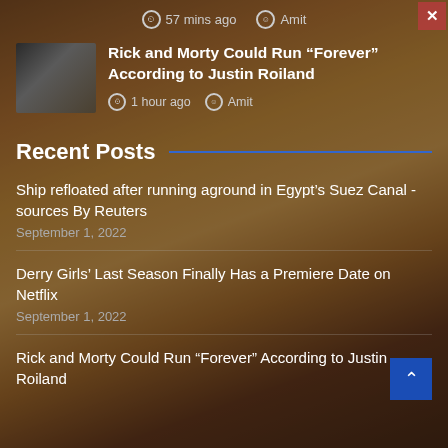[Figure (photo): Background image of a woman with long blonde hair, warm golden-brown tones, semi-transparent dark overlay]
57 mins ago  Amit
Rick and Morty Could Run “Forever” According to Justin Roiland
1 hour ago  Amit
Recent Posts
Ship refloated after running aground in Egypt’s Suez Canal - sources By Reuters
September 1, 2022
Derry Girls’ Last Season Finally Has a Premiere Date on Netflix
September 1, 2022
Rick and Morty Could Run “Forever” According to Justin Roiland